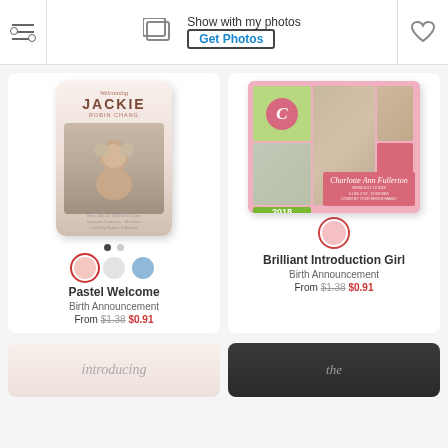Show with my photos | Get Photos
[Figure (photo): Pastel Welcome birth announcement card showing baby in knit hat on neutral background]
[Figure (photo): Brilliant Introduction Girl birth announcement card with photo collage grid on pink background]
Pastel Welcome
Birth Announcement
From $1.38 $0.91
Brilliant Introduction Girl
Birth Announcement
From $1.38 $0.91
[Figure (photo): Bottom-left partial card showing introducing script text on pink background]
[Figure (photo): Bottom-right partial card showing dark background with cursive text]